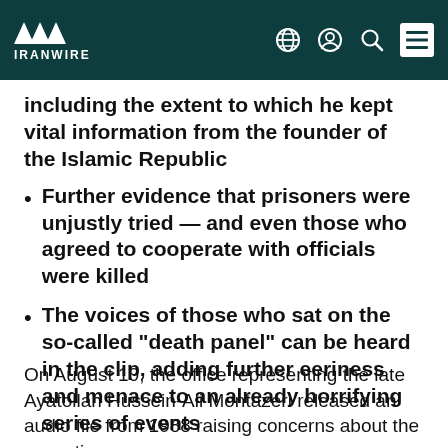IRANWIRE
including the extent to which he kept vital information from the founder of the Islamic Republic
Further evidence that prisoners were unjustly tried — and even those who agreed to cooperate with officials were killed
The voices of those who sat on the so-called “death panel” can be heard in the clip, adding further eeriness and menace to an already horrifying series of events
On August 10, the office representing the late Ayatollah Hussein-Ali Montazeri released an audio file from 1988 raising concerns about the executions